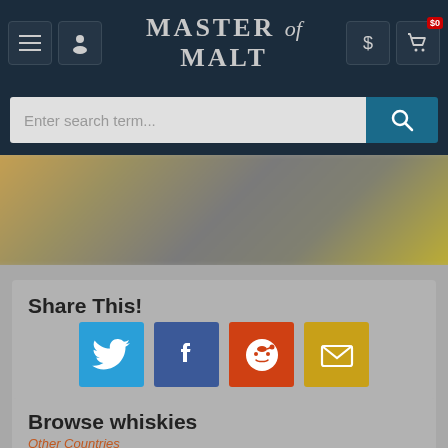Master of Malt
[Figure (screenshot): Navigation bar with hamburger menu, user icon, Master of Malt logo, dollar sign and cart icons with $0 badge]
[Figure (photo): Blurred bokeh background image with warm golden and grey tones]
Share This!
[Figure (infographic): Social share buttons: Twitter (blue bird), Facebook (blue F), Reddit (orange alien), Email (yellow envelope)]
Browse whiskies
Other Countries
Scotch Whisky (1898)